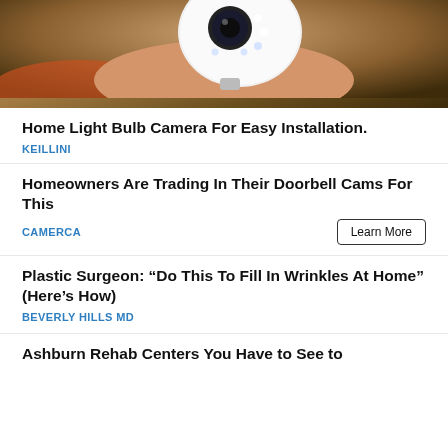[Figure (photo): A hand holding a white light bulb security camera, partially visible at top of page]
Home Light Bulb Camera For Easy Installation.
KEILLINI
Homeowners Are Trading In Their Doorbell Cams For This
CAMERCA
Learn More
Plastic Surgeon: “Do This To Fill In Wrinkles At Home” (Here’s How)
BEVERLY HILLS MD
Ashburn Rehab Centers You Have to See to Believe